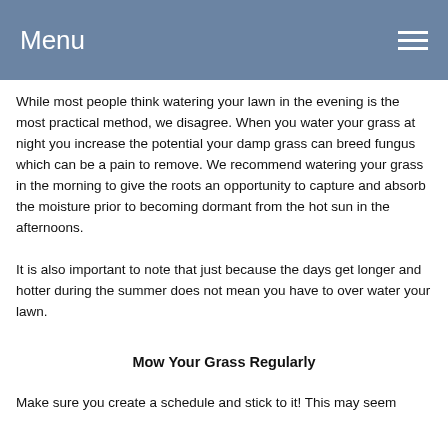Menu
While most people think watering your lawn in the evening is the most practical method, we disagree. When you water your grass at night you increase the potential your damp grass can breed fungus which can be a pain to remove. We recommend watering your grass in the morning to give the roots an opportunity to capture and absorb the moisture prior to becoming dormant from the hot sun in the afternoons.
It is also important to note that just because the days get longer and hotter during the summer does not mean you have to over water your lawn.
Mow Your Grass Regularly
Make sure you create a schedule and stick to it! This may seem